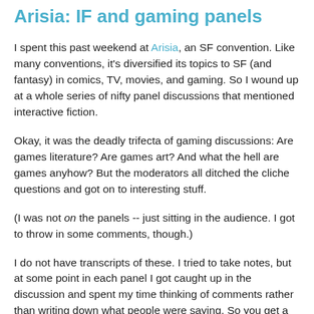Arisia: IF and gaming panels
I spent this past weekend at Arisia, an SF convention. Like many conventions, it's diversified its topics to SF (and fantasy) in comics, TV, movies, and gaming. So I wound up at a whole series of nifty panel discussions that mentioned interactive fiction.
Okay, it was the deadly trifecta of gaming discussions: Are games literature? Are games art? And what the hell are games anyhow? But the moderators all ditched the cliche questions and got on to interesting stuff.
(I was not on the panels -- just sitting in the audience. I got to throw in some comments, though.)
I do not have transcripts of these. I tried to take notes, but at some point in each panel I got caught up in the discussion and spent my time thinking of comments rather than writing down what people were saying. So you get a rather disjointed view of all of this. Sorry! I think it's worth copying